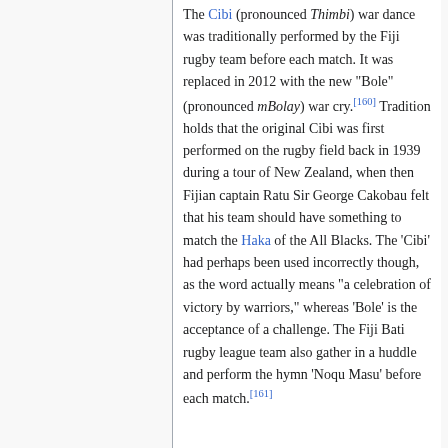The Cibi (pronounced Thimbi) war dance was traditionally performed by the Fiji rugby team before each match. It was replaced in 2012 with the new "Bole" (pronounced mBolay) war cry.[160] Tradition holds that the original Cibi was first performed on the rugby field back in 1939 during a tour of New Zealand, when then Fijian captain Ratu Sir George Cakobau felt that his team should have something to match the Haka of the All Blacks. The 'Cibi' had perhaps been used incorrectly though, as the word actually means "a celebration of victory by warriors," whereas 'Bole' is the acceptance of a challenge. The Fiji Bati rugby league team also gather in a huddle and perform the hymn 'Noqu Masu' before each match.[161]